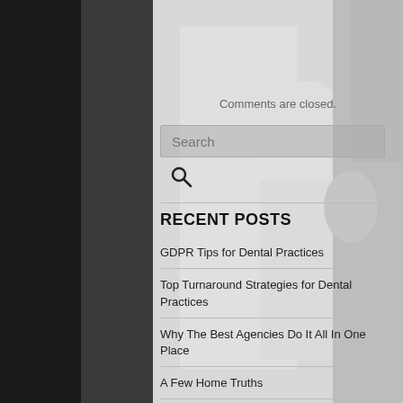[Figure (photo): Grayscale background photo showing a person from behind near a door/wall, dark tones on left, lighter center with figure, right side shows person's ear and hair.]
Comments are closed.
Search
RECENT POSTS
GDPR Tips for Dental Practices
Top Turnaround Strategies for Dental Practices
Why The Best Agencies Do It All In One Place
A Few Home Truths